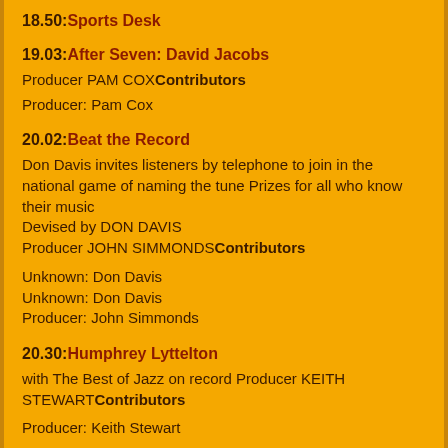18.50: Sports Desk
19.03: After Seven: David Jacobs
Producer PAM COXContributors
Producer: Pam Cox
20.02: Beat the Record
Don Davis invites listeners by telephone to join in the national game of naming the tune Prizes for all who know their music
Devised by DON DAVIS
Producer JOHN SIMMONDSContributors
Unknown: Don Davis
Unknown: Don Davis
Producer: John Simmonds
20.30: Humphrey Lyttelton
with The Best of Jazz on record Producer KEITH STEWARTContributors
Producer: Keith Stewart